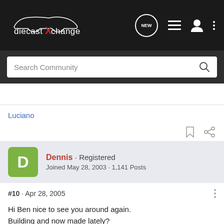diecastXchange — Search Community navigation bar
Search Community
Luciano
Dennis · Registered
Joined May 28, 2003 · 1,141 Posts
#10 · Apr 28, 2005
Hi Ben nice to see you around again.
Building and now made lately?